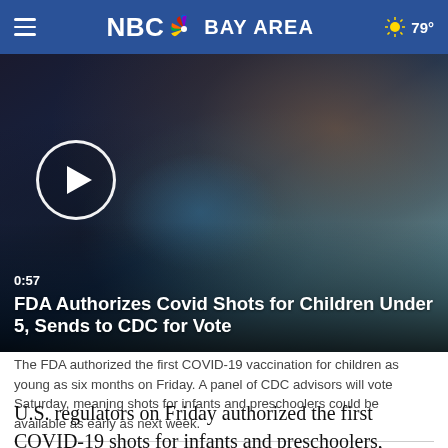NBC Bay Area  79°
[Figure (photo): Video thumbnail showing a young girl in a mask receiving a vaccination from a gloved healthcare worker. A play button overlay and duration label '0:57' are visible. Caption reads: FDA Authorizes Covid Shots for Children Under 5, Sends to CDC for Vote]
The FDA authorized the first COVID-19 vaccination for children as young as six months on Friday. A panel of CDC advisors will vote Saturday, meaning shots for infants and preschoolers could be available as early as next week.
U.S. regulators on Friday authorized the first COVID-19 shots for infants and preschoolers, paving the way for vaccinations